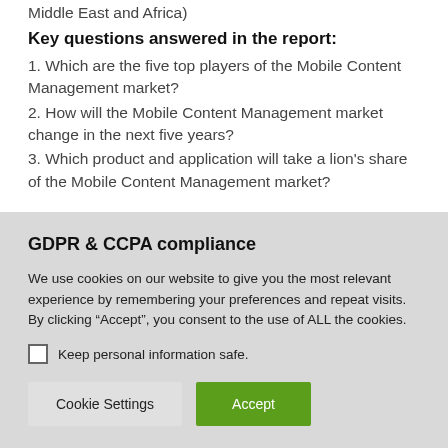Middle East and Africa)
Key questions answered in the report:
1. Which are the five top players of the Mobile Content Management market?
2. How will the Mobile Content Management market change in the next five years?
3. Which product and application will take a lion's share of the Mobile Content Management market?
GDPR & CCPA compliance
We use cookies on our website to give you the most relevant experience by remembering your preferences and repeat visits. By clicking “Accept”, you consent to the use of ALL the cookies.
Keep personal information safe.
Cookie Settings
Accept